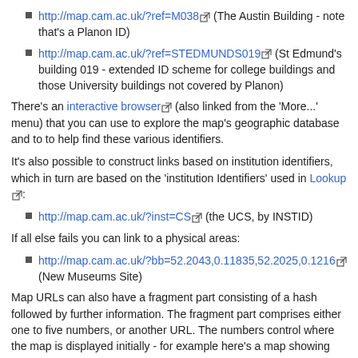http://map.cam.ac.uk/?ref=M038 (The Austin Building - note that's a Planon ID)
http://map.cam.ac.uk/?ref=STEDMUNDS019 (St Edmund's building 019 - extended ID scheme for college buildings and those University buildings not covered by Planon)
There's an interactive browser (also linked from the 'More...' menu) that you can use to explore the map's geographic database and to to help find these various identifiers.
It's also possible to construct links based on institution identifiers, which in turn are based on the 'institution Identifiers' used in Lookup:
http://map.cam.ac.uk/?inst=CS (the UCS, by INSTID)
If all else fails you can link to a physical areas:
http://map.cam.ac.uk/?bb=52.2043,0.11835,52.2025,0.1216 (New Museums Site)
Map URLs can also have a fragment part consisting of a hash followed by further information. The fragment part comprises either one to five numbers, or another URL. The numbers control where the map is displayed initially - for example here's a map showing the Hopkinson Lecture Theatre but scaled and centred to also show the station:
http://map.cam.ac.uk/Hopkinson+Lecture+Theatre#52.199669,0.127349,15